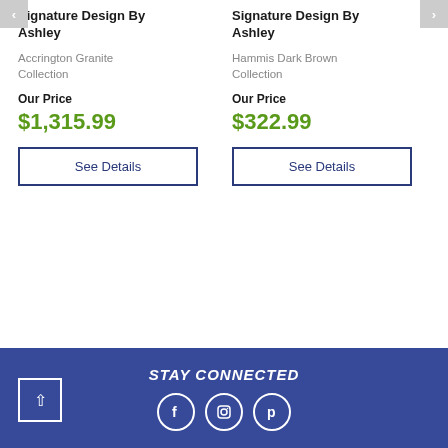Signature Design By Ashley
Accrington Granite Collection
Our Price
$1,315.99
See Details
Signature Design By Ashley
Hammis Dark Brown Collection
Our Price
$322.99
See Details
STAY CONNECTED